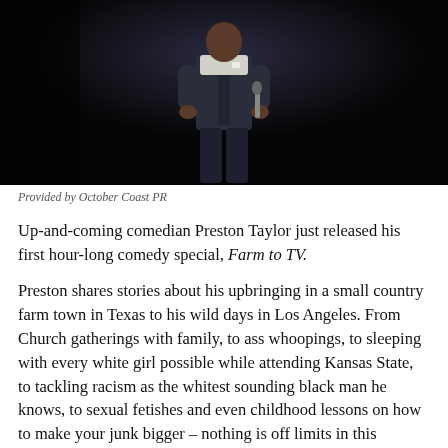[Figure (photo): A comedian (Preston Taylor) performing on stage, wearing a dark vest over a white shirt, holding a microphone, against a black background.]
Provided by October Coast PR
Up-and-coming comedian Preston Taylor just released his first hour-long comedy special, Farm to TV.
Preston shares stories about his upbringing in a small country farm town in Texas to his wild days in Los Angeles. From Church gatherings with family, to ass whoopings, to sleeping with every white girl possible while attending Kansas State, to tackling racism as the whitest sounding black man he knows, to sexual fetishes and even childhood lessons on how to make your junk bigger – nothing is off limits in this intimate stand-up